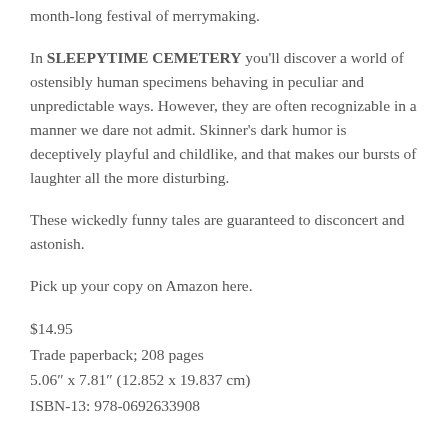month-long festival of merrymaking.
In SLEEPYTIME CEMETERY you'll discover a world of ostensibly human specimens behaving in peculiar and unpredictable ways. However, they are often recognizable in a manner we dare not admit. Skinner's dark humor is deceptively playful and childlike, and that makes our bursts of laughter all the more disturbing.
These wickedly funny tales are guaranteed to disconcert and astonish.
Pick up your copy on Amazon here.
$14.95
Trade paperback; 208 pages
5.06″ x 7.81″ (12.852 x 19.837 cm)
ISBN-13: 978-0692633908